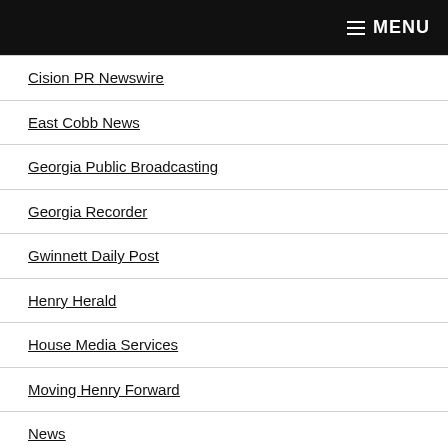MENU
Cision PR Newswire
East Cobb News
Georgia Public Broadcasting
Georgia Recorder
Gwinnett Daily Post
Henry Herald
House Media Services
Moving Henry Forward
News